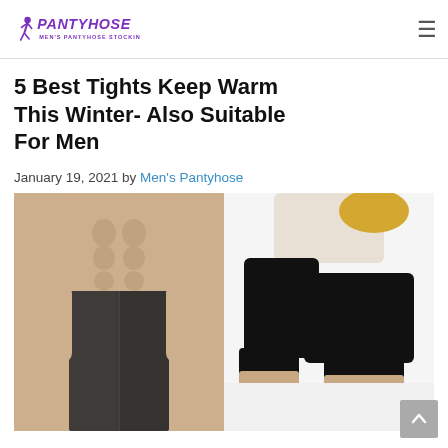Pantyhose Men's Pantyhose Stockings
5 Best Tights Keep Warm This Winter- Also Suitable For Men
January 19, 2021 by Men's Pantyhose
[Figure (photo): Two side-by-side photos: left shows a muscular shirtless man wearing black tights/leggings; right shows a person wearing black opaque tights/stockings in a seated pose against a white background.]